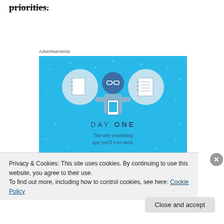priorities.
Advertisements
[Figure (illustration): Day One journaling app advertisement. Blue background with illustration of a person holding a phone, flanked by two circular icons showing a notebook and a lined notepad. Text reads: DAY ONE – The only journaling app you'll ever need.]
Privacy & Cookies: This site uses cookies. By continuing to use this website, you agree to their use.
To find out more, including how to control cookies, see here: Cookie Policy